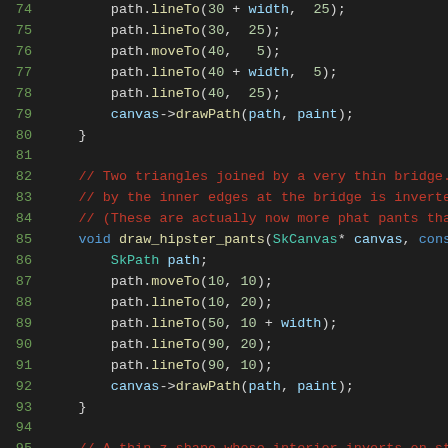[Figure (screenshot): Source code snippet in a dark-themed code editor showing C++ code for drawing shapes using SkPath and SkCanvas. Lines 74-95 visible, including path drawing operations and function draw_hipster_pants. Comments in red describe triangles joined by a thin bridge.]